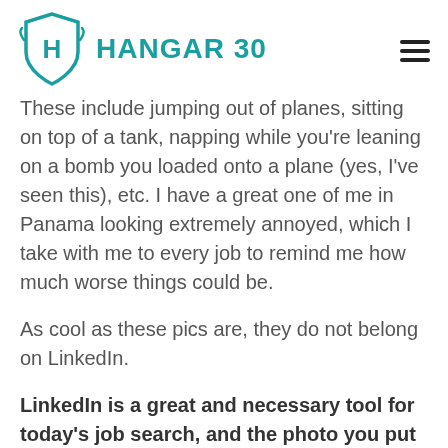[Figure (logo): Hangar 30 logo: teal shield with H letter and teal text HANGAR 30]
These include jumping out of planes, sitting on top of a tank, napping while you’re leaning on a bomb you loaded onto a plane (yes, I’ve seen this), etc. I have a great one of me in Panama looking extremely annoyed, which I take with me to every job to remind me how much worse things could be.
As cool as these pics are, they do not belong on LinkedIn.
LinkedIn is a great and necessary tool for today’s job search, and the photo you put up is an